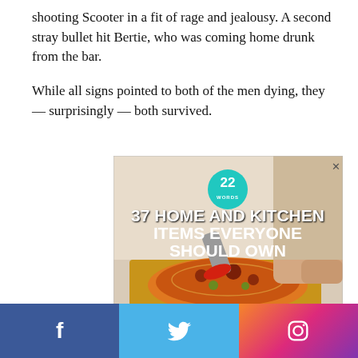shooting Scooter in a fit of rage and jealousy. A second stray bullet hit Bertie, who was coming home drunk from the bar.
While all signs pointed to both of the men dying, they — surprisingly — both survived.
[Figure (illustration): Advertisement image showing a person cutting a pizza with a red pizza cutter. Overlaid text reads '37 HOME AND KITCHEN ITEMS EVERYONE SHOULD OWN' with a teal '22 WORDS' badge at top.]
Facebook | Twitter | Instagram social share buttons